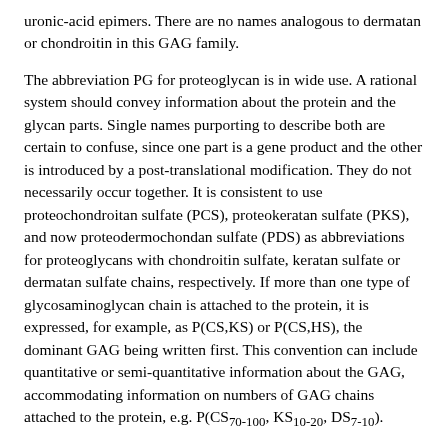uronic-acid epimers. There are no names analogous to dermatan or chondroitin in this GAG family.
The abbreviation PG for proteoglycan is in wide use. A rational system should convey information about the protein and the glycan parts. Single names purporting to describe both are certain to confuse, since one part is a gene product and the other is introduced by a post-translational modification. They do not necessarily occur together. It is consistent to use proteochondroitan sulfate (PCS), proteokeratan sulfate (PKS), and now proteodermochondan sulfate (PDS) as abbreviations for proteoglycans with chondroitin sulfate, keratan sulfate or dermatan sulfate chains, respectively. If more than one type of glycosaminoglycan chain is attached to the protein, it is expressed, for example, as P(CS,KS) or P(CS,HS), the dominant GAG being written first. This convention can include quantitative or semi-quantitative information about the GAG, accommodating information on numbers of GAG chains attached to the protein, e.g. P(CS70-100, KS10-20, DS7-10).
Protein cores may be viewed as gene products, as amino-acid sequences, as functioning units, or as characteristic shapes (sizes).
Names such as decorin, lumican, aggrecan, syndecan, etc. have been given over the past few years to molecules whose chemistry